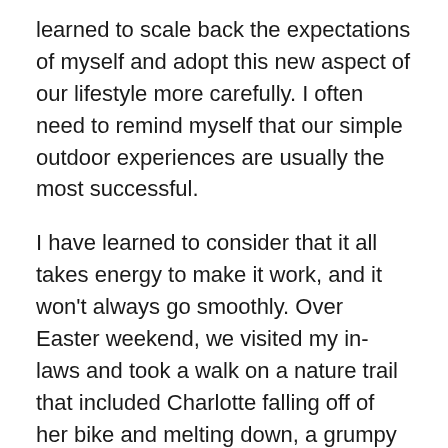learned to scale back the expectations of myself and adopt this new aspect of our lifestyle more carefully. I often need to remind myself that our simple outdoor experiences are usually the most successful.
I have learned to consider that it all takes energy to make it work, and it won't always go smoothly. Over Easter weekend, we visited my in-laws and took a walk on a nature trail that included Charlotte falling off of her bike and melting down, a grumpy old golfer accusing us of trespassing, and a near dog mauling with our dog and another dog off-leash. Needless to say, I wasn't any more relaxed from our outdoor experience when we returned home. But rather than give up or blame myself on some level, we laughed it off and decided it certainly was a walk to remember.